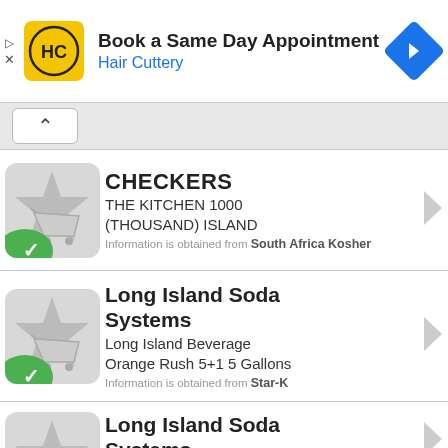[Figure (infographic): Hair Cuttery advertisement banner: yellow logo with HC letters, text 'Book a Same Day Appointment / Hair Cuttery', blue diamond navigation icon]
[Figure (screenshot): Collapse/expand chevron button bar]
CHECKERS — THE KITCHEN 1000 (THOUSAND) ISLAND — Information is obtained from South Africa Kosher
Long Island Soda Systems — Long Island Beverage Orange Rush 5+1 5 Gallons — Information is obtained from Star-K
Long Island Soda Systems (partial)